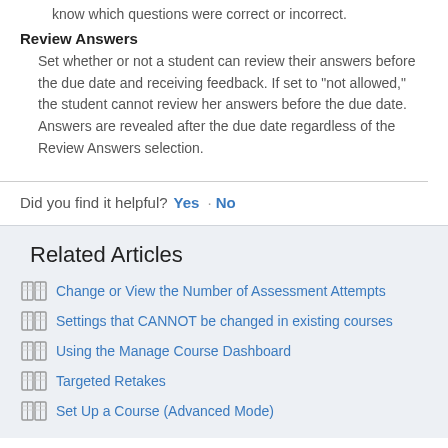know which questions were correct or incorrect.
Review Answers
Set whether or not a student can review their answers before the due date and receiving feedback. If set to "not allowed," the student cannot review her answers before the due date. Answers are revealed after the due date regardless of the Review Answers selection.
Did you find it helpful? Yes · No
Related Articles
Change or View the Number of Assessment Attempts
Settings that CANNOT be changed in existing courses
Using the Manage Course Dashboard
Targeted Retakes
Set Up a Course (Advanced Mode)